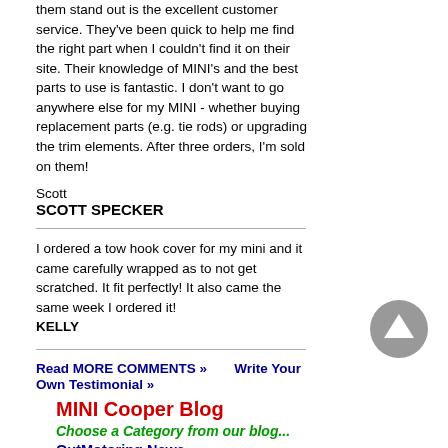them stand out is the excellent customer service. They've been quick to help me find the right part when I couldn't find it on their site. Their knowledge of MINI's and the best parts to use is fantastic. I don't want to go anywhere else for my MINI - whether buying replacement parts (e.g. tie rods) or upgrading the trim elements. After three orders, I'm sold on them!
Scott
SCOTT SPECKER
I ordered a tow hook cover for my mini and it came carefully wrapped as to not get scratched. It fit perfectly! It also came the same week I ordered it!
KELLY
Read MORE COMMENTS »      Write Your Own Testimonial »
MINI Cooper Blog
Choose a Category from our blog...
OutMotoring News
MINI Accessories
MINI Performance Parts